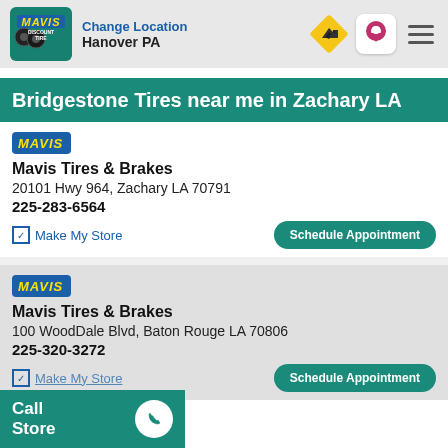Change Location Hanover PA
Bridgestone Tires near me in Zachary LA
Mavis Tires & Brakes
20101 Hwy 964, Zachary LA 70791
225-283-6564
Make My Store
Mavis Tires & Brakes
100 WoodDale Blvd, Baton Rouge LA 70806
225-320-3272
Make My Store
Call Store